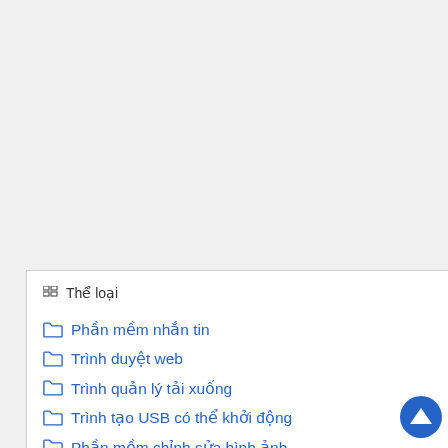Thể loại
Phần mềm nhắn tin
Trình duyệt web
Trình quản lý tải xuống
Trình tạo USB có thể khởi động
Phần mềm chỉnh sửa hình ảnh
Phần mềm phát video